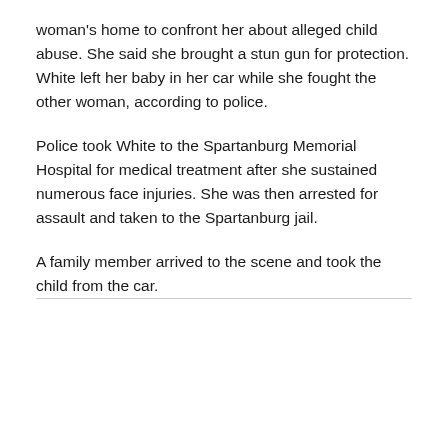woman's home to confront her about alleged child abuse. She said she brought a stun gun for protection. White left her baby in her car while she fought the other woman, according to police.
Police took White to the Spartanburg Memorial Hospital for medical treatment after she sustained numerous face injuries. She was then arrested for assault and taken to the Spartanburg jail.
A family member arrived to the scene and took the child from the car.